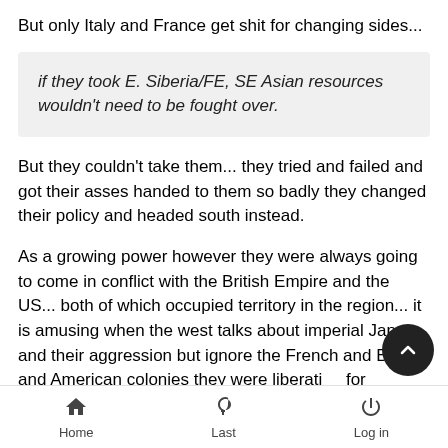But only Italy and France get shit for changing sides...
if they took E. Siberia/FE, SE Asian resources wouldn't need to be fought over.
But they couldn't take them... they tried and failed and got their asses handed to them so badly they changed their policy and headed south instead.
As a growing power however they were always going to come in conflict with the British Empire and the US... both of which occupied territory in the region... it is amusing when the west talks about imperial Japan and their aggression but ignore the French and British and American colonies they were liberating for themselves... it seems that under western rule the oppressed locals were better off than being under Japanese rule, but the
Home  Last  Log in